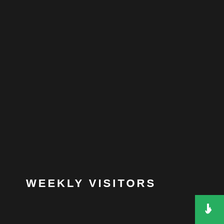WEEKLY VISITORS
[Figure (illustration): Green button with a hand/pointer cursor icon in the bottom-right corner]